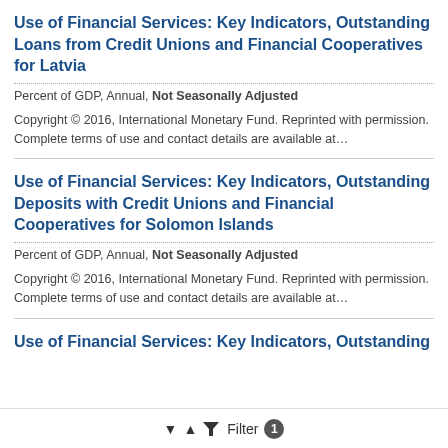Use of Financial Services: Key Indicators, Outstanding Loans from Credit Unions and Financial Cooperatives for Latvia
Percent of GDP, Annual, Not Seasonally Adjusted
Copyright © 2016, International Monetary Fund. Reprinted with permission. Complete terms of use and contact details are available at…
Use of Financial Services: Key Indicators, Outstanding Deposits with Credit Unions and Financial Cooperatives for Solomon Islands
Percent of GDP, Annual, Not Seasonally Adjusted
Copyright © 2016, International Monetary Fund. Reprinted with permission. Complete terms of use and contact details are available at…
Use of Financial Services: Key Indicators, Outstanding
Filter 1